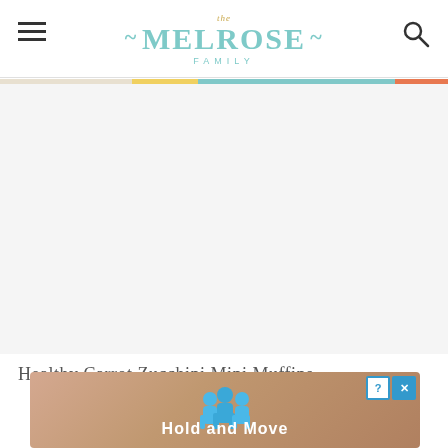The Melrose Family
[Figure (other): Large white advertisement area placeholder]
Healthy Carrot Zucchini Mini Muffins
[Figure (other): Overlay advertisement with 3D figures and text 'Hold and Move', with close and question mark buttons]